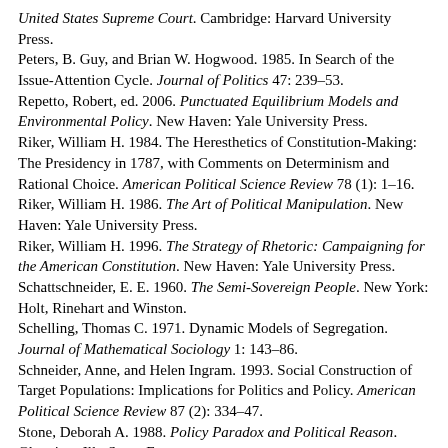United States Supreme Court. Cambridge: Harvard University Press.
Peters, B. Guy, and Brian W. Hogwood. 1985. In Search of the Issue-Attention Cycle. Journal of Politics 47: 239–53.
Repetto, Robert, ed. 2006. Punctuated Equilibrium Models and Environmental Policy. New Haven: Yale University Press.
Riker, William H. 1984. The Heresthetics of Constitution-Making: The Presidency in 1787, with Comments on Determinism and Rational Choice. American Political Science Review 78 (1): 1–16.
Riker, William H. 1986. The Art of Political Manipulation. New Haven: Yale University Press.
Riker, William H. 1996. The Strategy of Rhetoric: Campaigning for the American Constitution. New Haven: Yale University Press.
Schattschneider, E. E. 1960. The Semi-Sovereign People. New York: Holt, Rinehart and Winston.
Schelling, Thomas C. 1971. Dynamic Models of Segregation. Journal of Mathematical Sociology 1: 143–86.
Schneider, Anne, and Helen Ingram. 1993. Social Construction of Target Populations: Implications for Politics and Policy. American Political Science Review 87 (2): 334–47.
Stone, Deborah A. 1988. Policy Paradox and Political Reason. Glenview, Ill.: Scott, Foresman.
Stone, Deborah A. 1989. Causal Stories and the Formation of Policy Agendas. Political Science Quarterly 104, 2 (Summer): 281–300.